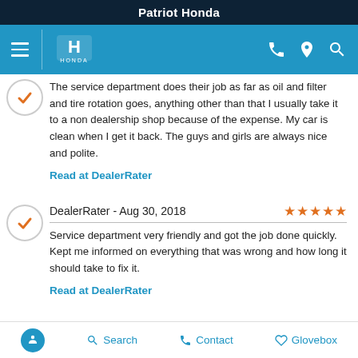Patriot Honda
[Figure (screenshot): Honda dealer website navigation bar with hamburger menu, Honda logo, phone, location, and search icons on blue background]
The service department does their job as far as oil and filter and tire rotation goes, anything other than that I usually take it to a non dealership shop because of the expense. My car is clean when I get it back. The guys and girls are always nice and polite.
Read at DealerRater
DealerRater - Aug 30, 2018
Service department very friendly and got the job done quickly. Kept me informed on everything that was wrong and how long it should take to fix it.
Read at DealerRater
Search   Contact   Glovebox